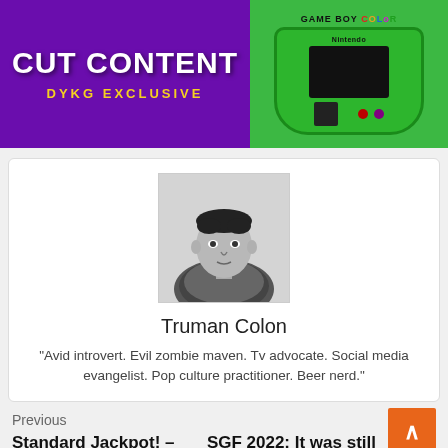[Figure (illustration): Banner image with purple left side showing 'CUT CONTENT DYKG EXCLUSIVE' text and green right side showing a Game Boy Color]
[Figure (photo): Black and white portrait photo of Truman Colon, a young male looking at the camera]
Truman Colon
"Avid introvert. Evil zombie maven. Tv advocate. Social media evangelist. Pop culture practitioner. Beer nerd."
Previous
Standard Jackpot! – Hearthstone shit
SGF 2022: It was still on Xbox and Bethesda